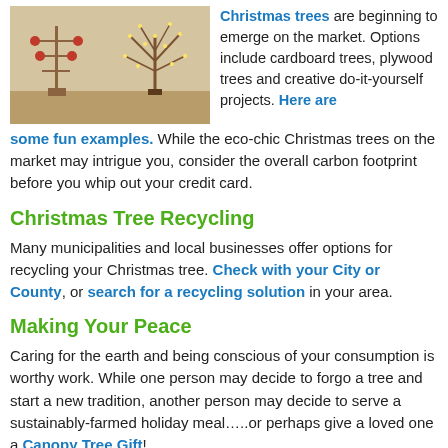[Figure (photo): Two alternative Christmas tree designs side by side — a minimalist metal rod tree with hanging ornaments on the left, and a lit twig/branch tree on the right, both indoors.]
Christmas trees are beginning to emerge on the market. Options include cardboard trees, plywood trees and creative do-it-yourself projects. Here are some fun examples. While the eco-chic Christmas trees on the market may intrigue you, consider the overall carbon footprint before you whip out your credit card.
Christmas Tree Recycling
Many municipalities and local businesses offer options for recycling your Christmas tree. Check with your City or County, or search for a recycling solution in your area.
Making Your Peace
Caring for the earth and being conscious of your consumption is worthy work. While one person may decide to forgo a tree and start a new tradition, another person may decide to serve a sustainably-farmed holiday meal…..or perhaps give a loved one a Canopy Tree Gift!